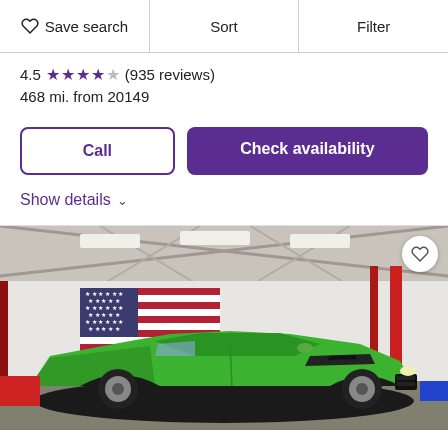Save search  Sort  Filter
4.5 ★★★★☆ (935 reviews)
468 mi. from 20149
Call
Check availability
Show details
[Figure (photo): A bright green classic American muscle car (Plymouth Barracuda style) parked inside a large metal warehouse/garage with red structural columns. An American flag hangs on the white wall in the background. The car has hood scoops and appears to be in excellent condition.]